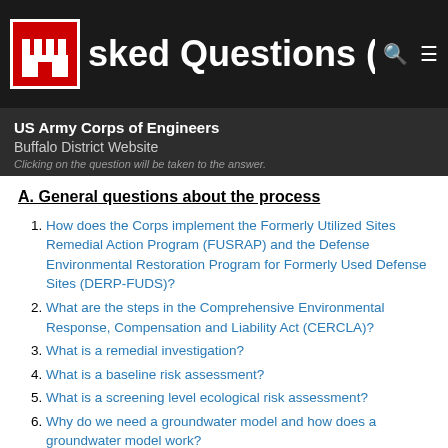sked Questions (FAQs)
US Army Corps of Engineers Buffalo District Website
Clicking on the question will be taken to the answer.
A. General questions about the process
1. How does the Corps implement the Formerly Utilized Sites Remedial Action Program (FUSRAP) and the Defense Environmental Restoration Program for Formerly Used Defense Sites (DERP-FUDS)?
2. What are the steps in the Comprehensive Environmental Response, Compensation and Liability Act (CERCLA)?
3. What is a remedial investigation?
4. What is a baseline risk assessment?
5. What is a screening level ecological risk assessment?
6. Why do we need a groundwater model and how does a groundwater model work?
7. Can a health study be conducted?
8. How can I get more information about the Niagara Falls Storage Site (NFSS) and the Lake Ontario Ordnance Works